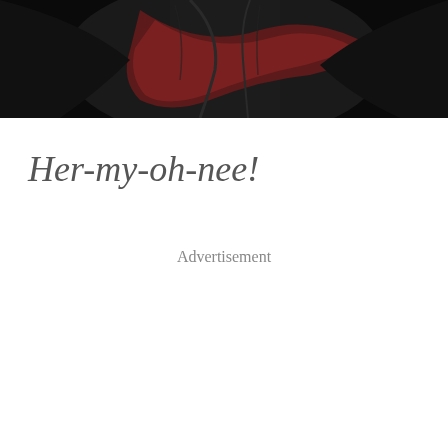[Figure (photo): Top portion of a person wearing a dark robe with a dark red/maroon sash or scarf, shown from approximately the torso up against a black background. Only the clothing is visible, no face shown.]
Her-my-oh-nee!
Advertisement